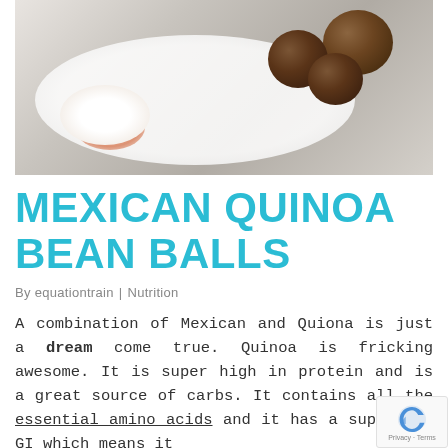[Figure (photo): A white plate with brown quinoa bean balls on the right side and white cream/sour cream with orange-red sauce on the left side, against a light background]
MEXICAN QUINOA BEAN BALLS
By equationtrain  |  Nutrition
A combination of Mexican and Quiona is just a dream come true. Quinoa is fricking awesome. It is super high in protein and is a great source of carbs. It contains all the essential amino acids and it has a super low GI which means it